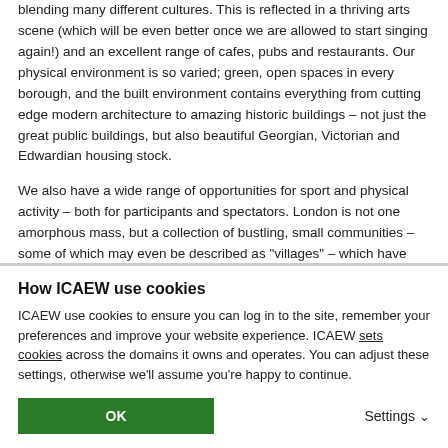blending many different cultures. This is reflected in a thriving arts scene (which will be even better once we are allowed to start singing again!) and an excellent range of cafes, pubs and restaurants. Our physical environment is so varied; green, open spaces in every borough, and the built environment contains everything from cutting edge modern architecture to amazing historic buildings – not just the great public buildings, but also beautiful Georgian, Victorian and Edwardian housing stock.
We also have a wide range of opportunities for sport and physical activity – both for participants and spectators. London is not one amorphous mass, but a collection of bustling, small communities – some of which may even be described as "villages" – which have come into their own in the current crisis. And it is (still) one of the best places
How ICAEW use cookies
ICAEW use cookies to ensure you can log in to the site, remember your preferences and improve your website experience. ICAEW sets cookies across the domains it owns and operates. You can adjust these settings, otherwise we'll assume you're happy to continue.